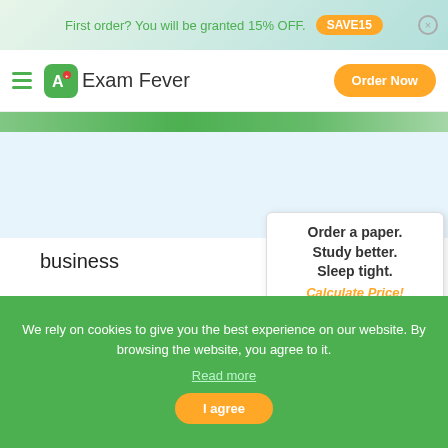First order? You will be granted 15% OFF. SAVE15
[Figure (screenshot): Exam Fever website navigation bar with hamburger menu, logo, and Order Now button]
business
[Figure (infographic): Tooltip popup: Order a paper. Study better. Sleep tight. Calculate Price!]
[Figure (infographic): Large orange Order Now! button with cursor, payment method icons (Visa, MasterCard, American Express, Discover, PayPal, 100% Secure SSL Encryption), and orange calculator circle]
We rely on cookies to give you the best experience on our website. By browsing the website, you agree to it. Read more
I agree